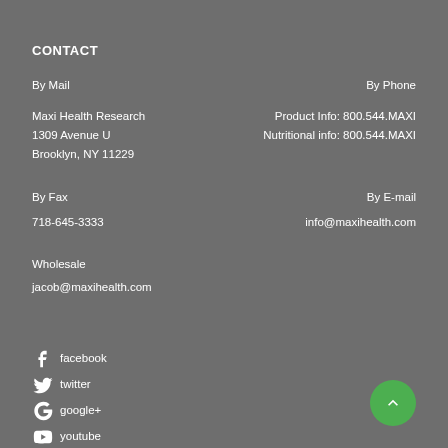CONTACT
By Mail
By Phone
Maxi Health Research
1309 Avenue U
Brooklyn, NY 11229
Product Info: 800.544.MAXI
Nutritional info: 800.544.MAXI
By Fax
By E-mail
718-645-3333
info@maxihealth.com
Wholesale
jacob@maxihealth.com
facebook
twitter
google+
youtube